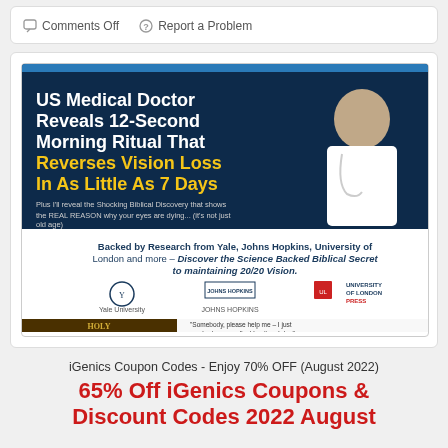Comments Off   Report a Problem
[Figure (screenshot): Advertisement: US Medical Doctor Reveals 12-Second Morning Ritual That Reverses Vision Loss In As Little As 7 Days. Backed by Research from Yale, Johns Hopkins, University of London and more. Logos of Yale University, Johns Hopkins, University of London Press. Holy Bible image with quote about car crash.]
iGenics Coupon Codes - Enjoy 70% OFF (August 2022)
65% Off iGenics Coupons & Discount Codes 2022 August